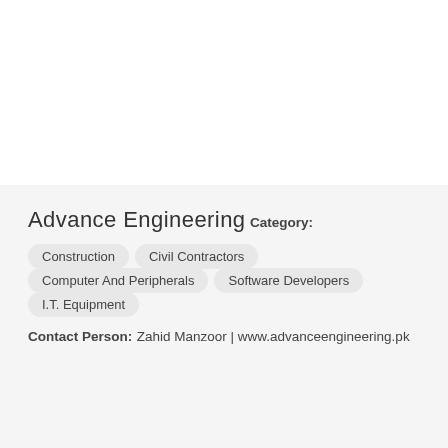Advance Engineering
Category:
Construction
Civil Contractors
Computer And Peripherals
Software Developers
I.T. Equipment
Contact Person:
Zahid Manzoor | www.advanceengineering.pk